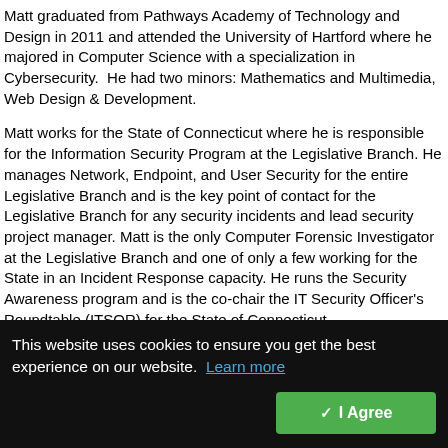Matt graduated from Pathways Academy of Technology and Design in 2011 and attended the University of Hartford where he majored in Computer Science with a specialization in Cybersecurity.  He had two minors: Mathematics and Multimedia, Web Design & Development.
Matt works for the State of Connecticut where he is responsible for the Information Security Program at the Legislative Branch. He manages Network, Endpoint, and User Security for the entire Legislative Branch and is the key point of contact for the Legislative Branch for any security incidents and lead security project manager. Matt is the only Computer Forensic Investigator at the Legislative Branch and one of only a few working for the State in an Incident Response capacity. He runs the Security Awareness program and is the co-chair the IT Security Officer's Roundtable (ITSOR) for the State of Connecticut.
Matt reports that the scholarship from our SIM Chapter made a significant difference in him being able to attend and continue college. “I am a first-generation immigrant and the first college graduate in my
This website uses cookies to ensure you get the best experience on our website.  Learn more